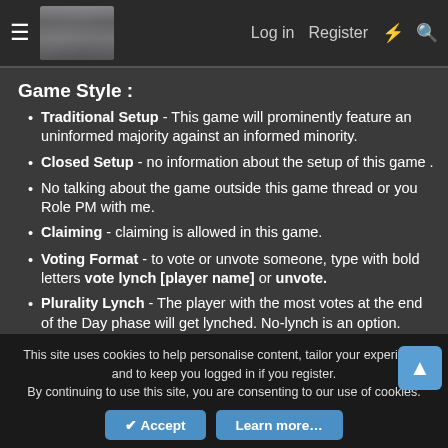≡  [logo]  Log in  Register  ⚡  🔍
Game Style :
Traditional Setup - This game will prominently feature an uninformed majority against an informed minority.
Closed Setup - no information about the setup of this game .
No talking about the game outside this game thread or you Role PM with me.
Claiming - claiming is allowed in this game.
Voting Format - to vote or unvote someone, type with bold letters vote lynch [player name] or unvote.
Plurality Lynch - The player with the most votes at the end of the Day phase will get lynched. No-lynch is an option.
This site uses cookies to help personalise content, tailor your experience and to keep you logged in if you register.
By continuing to use this site, you are consenting to our use of cookies.